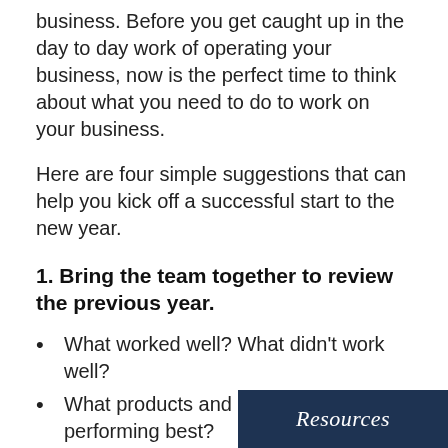business. Before you get caught up in the day to day work of operating your business, now is the perfect time to think about what you need to do to work on your business.
Here are four simple suggestions that can help you kick off a successful start to the new year.
1. Bring the team together to review the previous year.
What worked well? What didn't work well?
What products and services are performing best?
Which products and services need to be discontinued?
Do a deep dive on the sales data to review trends.
Resources